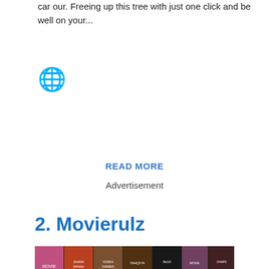car our. Freeing up this tree with just one click and be well on your...
[Figure (other): Globe/world emoji icon in blue]
READ MORE
Advertisement
2. Movierulz
[Figure (screenshot): Screenshot of Movierulz website showing a grid of Bollywood movie posters with a yellow banner reading MOVIERULZ at the bottom]